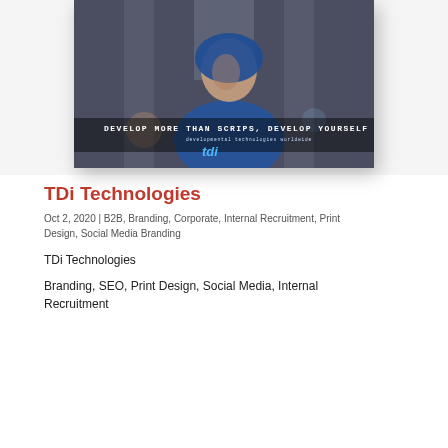[Figure (photo): Photo of a person in a blue hoodie looking upward, with text overlay reading 'DEVELOP MORE THAN SCRIPS, DEVELOP YOURSELF' and the TDi logo, displayed as a card/poster with shadow.]
TDi Technologies
Oct 2, 2020 | B2B, Branding, Corporate, Internal Recruitment, Print Design, Social Media Branding
TDi Technologies
Branding, SEO, Print Design, Social Media, Internal Recruitment